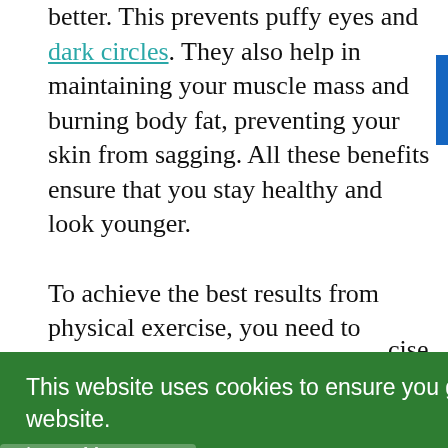better. This prevents puffy eyes and dark circles. They also help in maintaining your muscle mass and burning body fat, preventing your skin from sagging. All these benefits ensure that you stay healthy and look younger.
To achieve the best results from physical exercise, you need to design an exercise plan that …d of …se
This website uses cookies to ensure you get the best experience on our website.
Learn More
Back to the top
Got it!
…cise …re you started from. A sustainable exercise